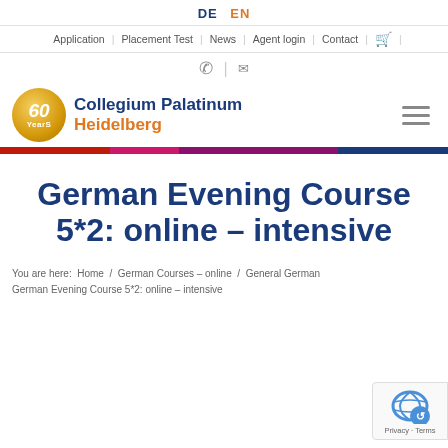DE  EN
Application | Placement Test | News | Agent login | Contact
[Figure (logo): Collegium Palatinum Heidelberg logo with 60 Years badge]
[Figure (infographic): Multicolor horizontal bar: red, pink, purple, blue]
German Evening Course 5*2: online – intensive
You are here:  Home  /  German Courses – online  /  General German  German Evening Course 5*2: online – intensive